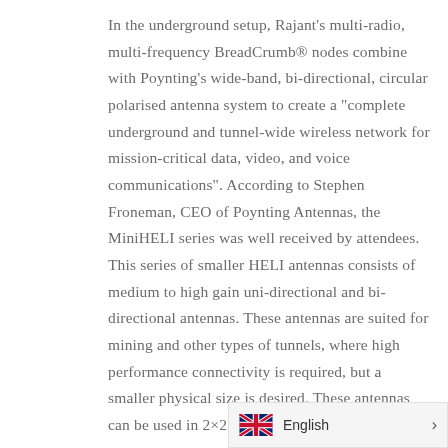In the underground setup, Rajant's multi-radio, multi-frequency BreadCrumb® nodes combine with Poynting's wide-band, bi-directional, circular polarised antenna system to create a "complete underground and tunnel-wide wireless network for mission-critical data, video, and voice communications". According to Stephen Froneman, CEO of Poynting Antennas, the MiniHELI series was well received by attendees. This series of smaller HELI antennas consists of medium to high gain uni-directional and bi-directional antennas. These antennas are suited for mining and other types of tunnels, where high performance connectivity is required, but a smaller physical size is desired. These antennas can be used in 2×2 MIMO configuratio
[Figure (other): Language selector widget showing UK flag and 'English' label with a right chevron arrow]